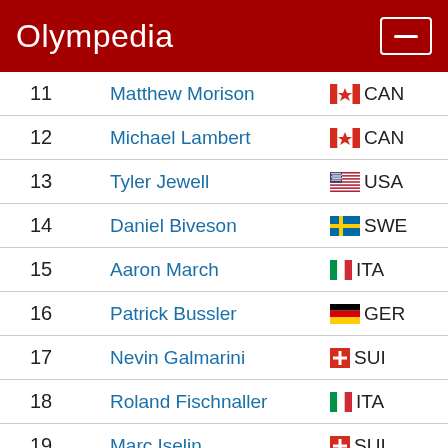Olympedia
| # | Name | Country |
| --- | --- | --- |
| 11 | Matthew Morison | CAN |
| 12 | Michael Lambert | CAN |
| 13 | Tyler Jewell | USA |
| 14 | Daniel Biveson | SWE |
| 15 | Aaron March | ITA |
| 16 | Patrick Bussler | GER |
| 17 | Nevin Galmarini | SUI |
| 18 | Roland Fischnaller | ITA |
| 19 | Marc Iselin | SUI |
| 20 | Roland Haldi | SUI |
| 21 | ... | ITA |